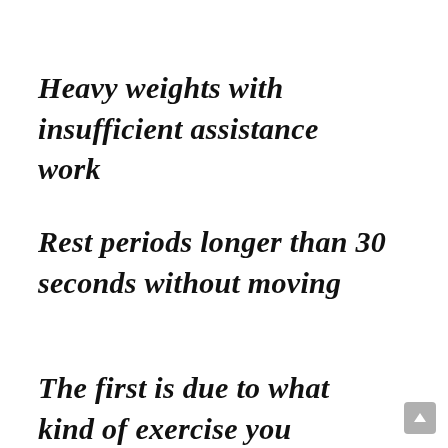Heavy weights with insufficient assistance work
Rest periods longer than 30 seconds without moving
The first is due to what kind of exercise you perform, steroid bodybuilding guide. When